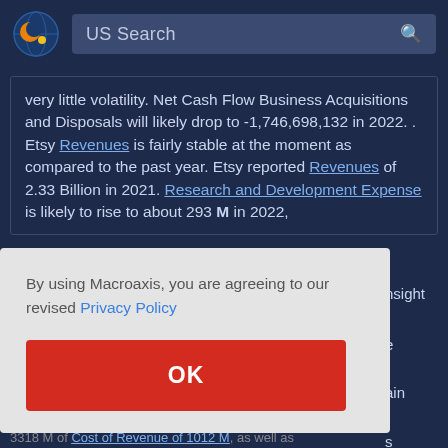US Search
very little volatility. Net Cash Flow Business Acquisitions and Disposals will likely drop to -1,746,698,132 in 2022. . Etsy Revenues is fairly stable at the moment as compared to the past year. Etsy reported Revenues of 2.33 Billion in 2021. Research and Development Expense is likely to rise to about 293 M in 2022,
By using Macroaxis, you are agreeing to our revised Privacy Policy
OK
nsight e ain s of
3318 M of Cost of Revenue of 1012 M, as well as